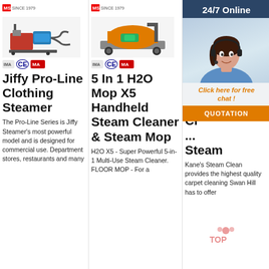[Figure (photo): Product 1: Industrial pump/steamer machine with red engine and blue components]
[Figure (photo): Product 2: Orange industrial vehicle/machine on wheeled chassis]
[Figure (photo): Product 3: Yellow industrial machine with hopper/mixer on stand]
Jiffy Pro-Line Clothing Steamer
5 In 1 H2O Mop X5 Handheld Steam Cleaner & Steam Mop
Mo... Re... Ca... Cl... ... Steam
The Pro-Line Series is Jiffy Steamer's most powerful model and is designed for commercial use. Department stores, restaurants and many
H2O X5 - Super Powerful 5-in-1 Multi-Use Steam Cleaner. FLOOR MOP - For a
Kane's Steam Clean provides the highest quality carpet cleaning Swan Hill has to offer
[Figure (photo): Chat widget with customer service agent, 24/7 Online, Click here for free chat, QUOTATION button]